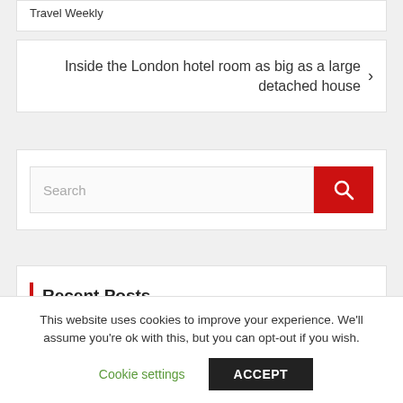Travel Weekly
Inside the London hotel room as big as a large detached house
Search
Recent Posts
Boulogne for under £100 a night! The charming French town on a budget
This website uses cookies to improve your experience. We'll assume you're ok with this, but you can opt-out if you wish.
Cookie settings
ACCEPT